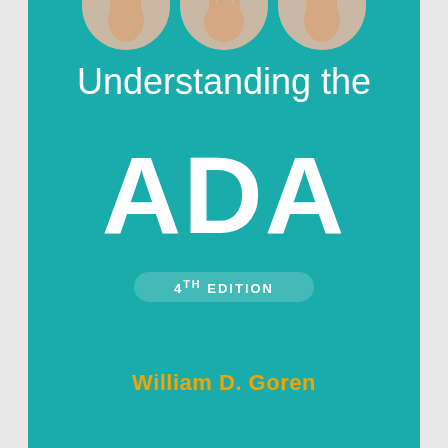[Figure (illustration): Book cover with teal/turquoise background showing three circular portrait photos at the top, large title text 'Understanding the ADA', edition pill badge, and author name]
Understanding the ADA
4th EDITION
William D. Goren